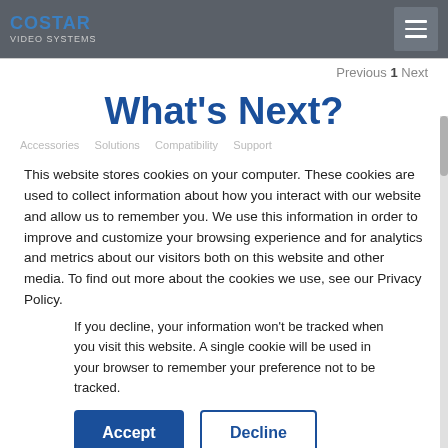COSTAR VIDEO SYSTEMS
Previous 1 Next
What's Next?
This website stores cookies on your computer. These cookies are used to collect information about how you interact with our website and allow us to remember you. We use this information in order to improve and customize your browsing experience and for analytics and metrics about our visitors both on this website and other media. To find out more about the cookies we use, see our Privacy Policy.
If you decline, your information won't be tracked when you visit this website. A single cookie will be used in your browser to remember your preference not to be tracked.
Accept   Decline